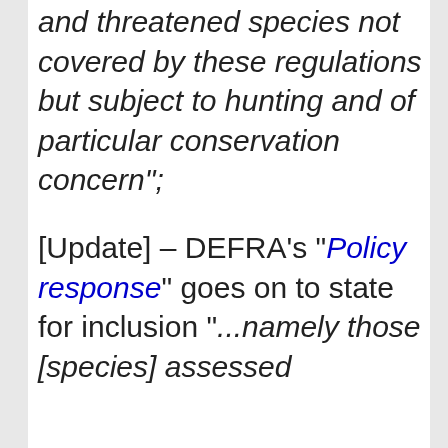and threatened species not covered by these regulations but subject to hunting and of particular conservation concern";
[Update] – DEFRA's "Policy response" goes on to state for inclusion "...namely those [species] assessed